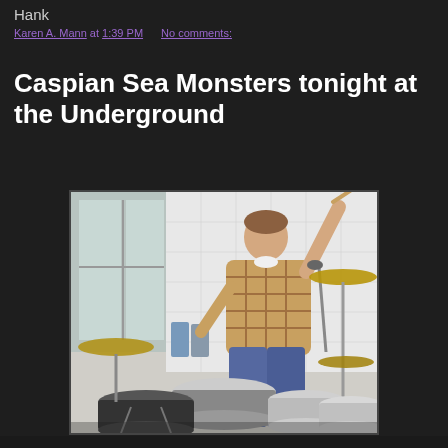Hank
Karen A. Mann at 1:39 PM    No comments:
Caspian Sea Monsters tonight at the Underground
[Figure (photo): A man energetically playing drums, wearing a plaid shirt, holding a drumstick raised high, leaning forward over a drum kit with cymbals visible, in front of a white tiled wall with a window. Beer cans visible in the background.]